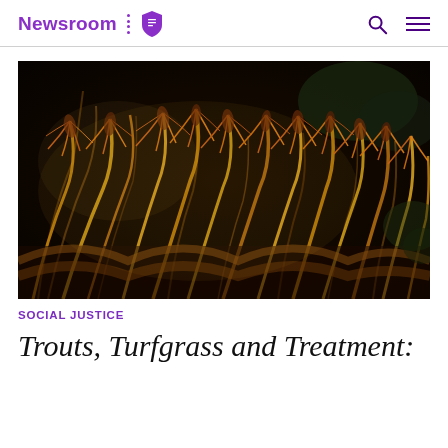Newsroom
[Figure (photo): Close-up photograph of golden-brown ornamental grass or foxtail grass with feathery seed heads, dramatically lit against a dark background]
Social Justice
Trouts, Turfgrass and Treatment: